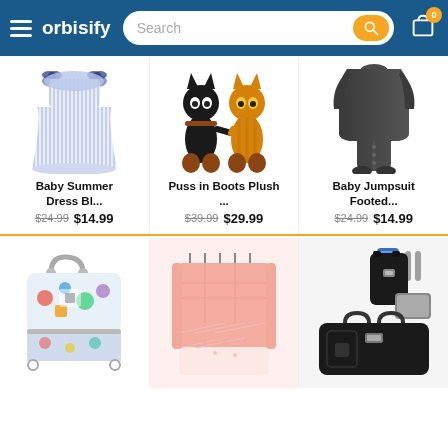orbisify — Search bar — Cart
[Figure (photo): Baby Summer Dress Bl... product photo — blue striped dress with bows]
[Figure (photo): Puss in Boots Plush ... product photo — black and yellow cat plush toys]
[Figure (photo): Baby Jumpsuit Footed... product photo — dark grey footed jumpsuit]
Baby Summer Dress Bl...
$24.99 $14.99
Puss in Boots Plush ...
$39.99 $29.99
Baby Jumpsuit Footed...
$24.99 $14.99
[Figure (photo): Colorful patterned baby bag/lunchbox]
[Figure (photo): Pink baby crib bumper bed]
[Figure (photo): Black diaper bag backpack set with accessories]